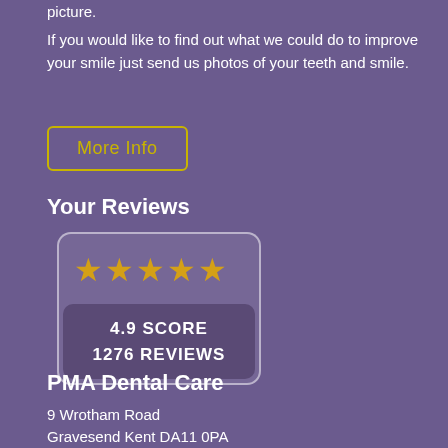picture.
If you would like to find out what we could do to improve your smile just send us photos of your teeth and smile.
More Info
Your Reviews
[Figure (infographic): Review widget showing 5 gold stars, 4.9 SCORE, 1276 REVIEWS]
PMA Dental Care
9 Wrotham Road
Gravesend Kent DA11 0PA